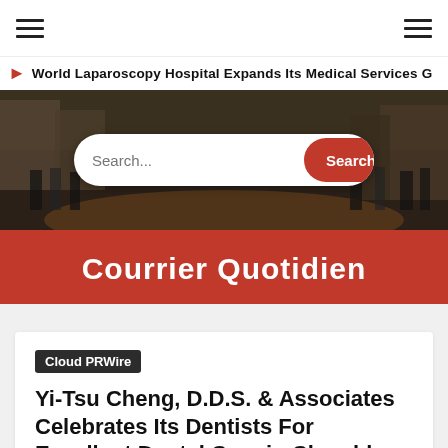Navigation bar with hamburger menus
World Laparoscopy Hospital Expands Its Medical Services Gl
[Figure (photo): Street scene with crowd of people, city background]
Courrier Quotidien
Cloud PRWire
Yi-Tsu Cheng, D.D.S. & Associates Celebrates Its Dentists For Excellent Dental Care in Chamblee, GA